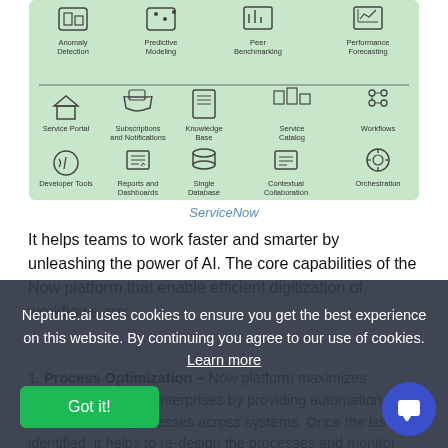[Figure (infographic): ServiceNow platform capabilities infographic on mint green background showing icons and labels: top row - Anomaly Detection, Predictive Modeling, Peer Benchmarking, Performance Forecasting; middle row - Service Portal, Subscriptions and Notifications, Knowledge Base, Service Catalog, Workflows; bottom row - Developer Tools, Reports and Dashboards, Single Database, Contextual Collaboration, Orchestration]
ServiceNow
It helps teams to work faster and smarter by unleashing the power of AI. The core capabilities of the Now platform that enable efficient digitization of workflows are:
Process Optimization – Now platform maximizes productivity across enterprises by providing automation to reduce manual processes across systems. Once the issue is identified, it helps to re-design the processes and monitor them.